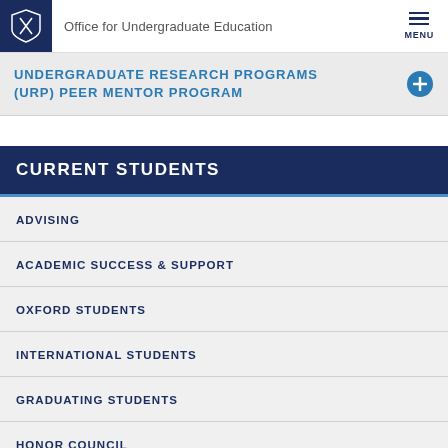Office for Undergraduate Education
UNDERGRADUATE RESEARCH PROGRAMS (URP) PEER MENTOR PROGRAM
CURRENT STUDENTS
ADVISING
ACADEMIC SUCCESS & SUPPORT
OXFORD STUDENTS
INTERNATIONAL STUDENTS
GRADUATING STUDENTS
HONOR COUNCIL